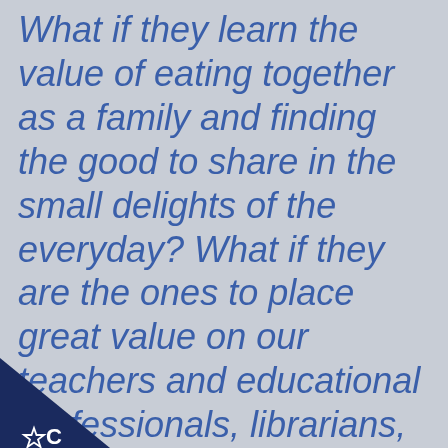What if they learn the value of eating together as a family and finding the good to share in the small delights of the everyday? What if they are the ones to place great value on our teachers and educational professionals, librarians, public servants and the previously invisible essential workers like
[Figure (logo): Dark navy triangle in bottom-left corner with a white star/badge icon and a white letter C]